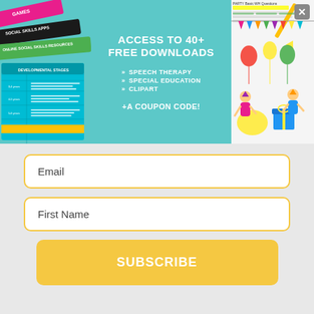[Figure (illustration): Promotional banner with teal/aqua background showing educational worksheets and clipart on the sides, with text advertising free downloads for speech therapy, special education, and clipart resources plus a coupon code]
Email
First Name
SUBSCRIBE